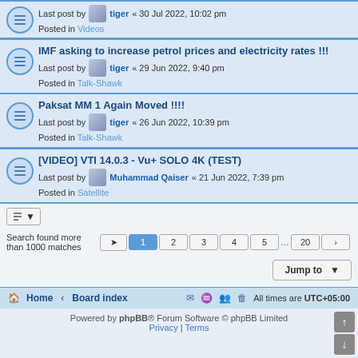Last post by tiger « 30 Jul 2022, 10:02 pm
Posted in Videos
IMF asking to increase petrol prices and electricity rates !!!
Last post by tiger « 29 Jun 2022, 9:40 pm
Posted in Talk-Shawk
Paksat MM 1 Again Moved !!!!
Last post by tiger « 26 Jun 2022, 10:39 pm
Posted in Talk-Shawk
[VIDEO] VTI 14.0.3 - Vu+ SOLO 4K (TEST)
Last post by Muhammad Qaiser « 21 Jun 2022, 7:39 pm
Posted in Satellite
Search found more than 1000 matches  1  2  3  4  5  ...  20
Jump to
Home · Board index   All times are UTC+05:00   Powered by phpBB® Forum Software © phpBB Limited   Privacy | Terms